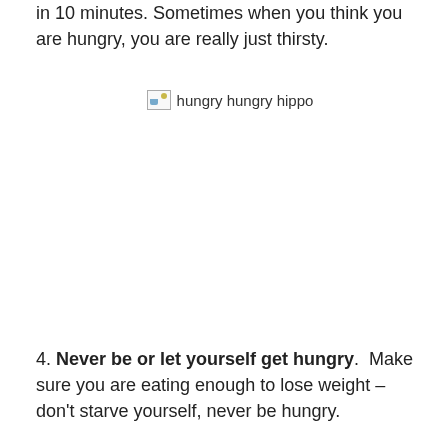in 10 minutes. Sometimes when you think you are hungry, you are really just thirsty.
[Figure (photo): Broken image placeholder with alt text 'hungry hungry hippo']
4. Never be or let yourself get hungry.  Make sure you are eating enough to lose weight – don't starve yourself, never be hungry.